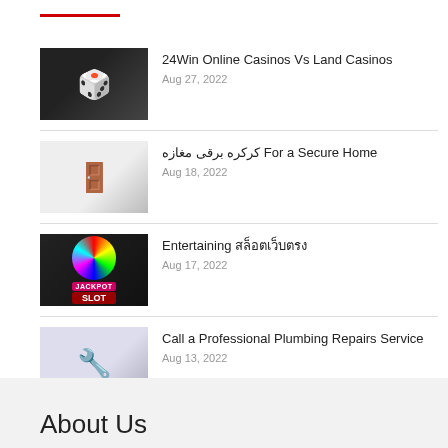24Win Online Casinos Vs Land Casinos
Aug 27, 2022
کرکره برقی مغازه For a Secure Home
Aug 18, 2022
Entertaining สล็อตเว็บตรง
Aug 17, 2022
Call a Professional Plumbing Repairs Service
Aug 13, 2022
The Ultimate Guide to Hiring a Hacker for iPhone
Aug 13, 2022
About Us